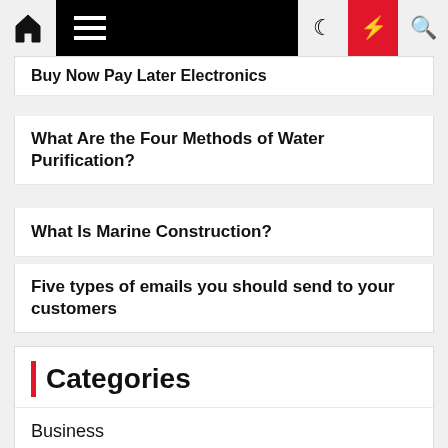Navigation bar with home, menu, moon, bolt, and search icons
Buy Now Pay Later Electronics
What Are the Four Methods of Water Purification?
What Is Marine Construction?
Five types of emails you should send to your customers
Categories
Business
Home & Garden
Home Improvement